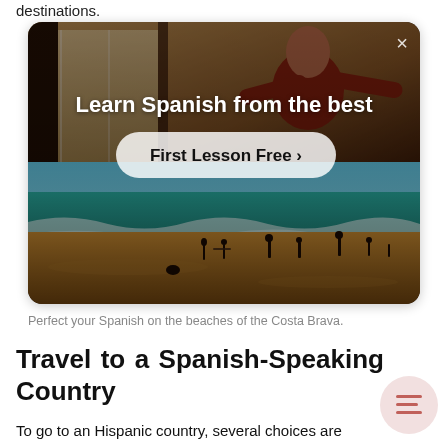destinations.
[Figure (screenshot): Advertisement card showing 'Learn Spanish from the best' with a 'First Lesson Free >' button overlay on a beach/person image. Top half shows a person in a room, bottom half shows a sunny beach with waves and people walking. An X close button is in the top right corner.]
Perfect your Spanish on the beaches of the Costa Brava.
Travel to a Spanish-Speaking Country
To go to an Hispanic country, several choices are